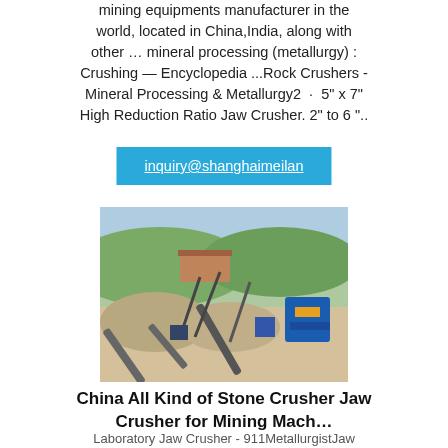mining equipments manufacturer in the world, located in China,India, along with other … mineral processing (metallurgy) : Crushing — Encyclopedia ...Rock Crushers - Mineral Processing & Metallurgy2  ·  5" x 7" High Reduction Ratio Jaw Crusher. 2" to 6 "..
inquiry@shanghaimeilan
[Figure (photo): Aerial/ground-level photo of a stone crusher and mining equipment installation site, with conveyor belts, crushers, and rock piles visible, with green hills in the background.]
China All Kind of Stone Crusher Jaw Crusher for Mining Mach…
Laboratory Jaw Crusher - 911MetallurgistJaw crusher | LCDRI CN2021-12-29 · Jaw Crusher is suitable for primary and